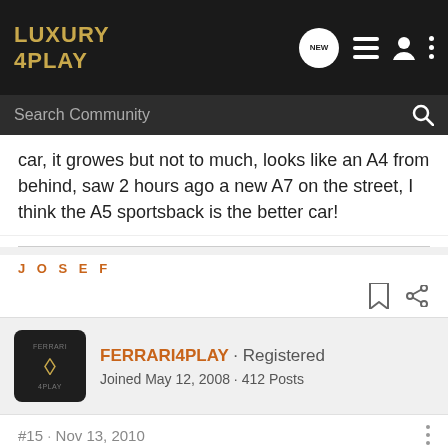LUXURY 4PLAY
car, it growes but not to much, looks like an A4 from behind, saw 2 hours ago a new A7 on the street, I think the A5 sportsback is the better car!
JOSEF
FERRARI4PLAY · Registered
Joined May 12, 2008 · 412 Posts
#15 · Nov 13, 2010